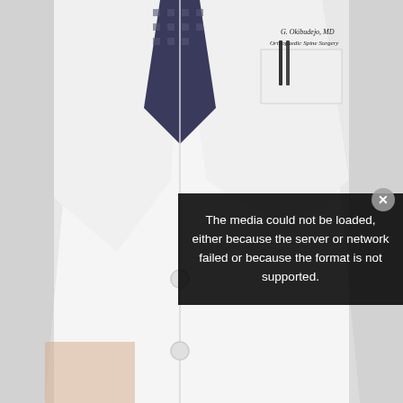[Figure (photo): A physician wearing a white lab coat with an embroidered name badge reading 'G. Okibudejo, MD, Orthopaedic Spine Surgery'. The doctor has a patterned dark tie visible and a pen in the breast pocket. The coat has buttons down the front. The photo is cropped to show the torso/chest area of the physician.]
The media could not be loaded, either because the server or network failed or because the format is not supported.